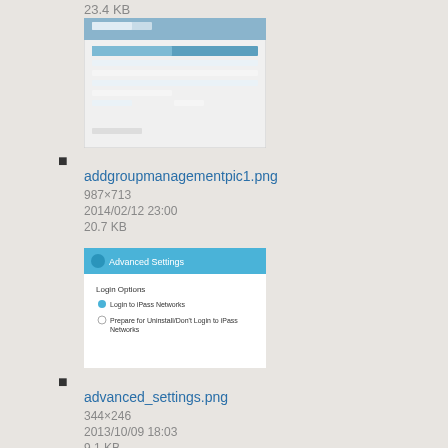23.4 KB
[Figure (screenshot): Thumbnail screenshot of addgroupmanagementpic1.png showing a table/management interface with blue header row]
addgroupmanagementpic1.png
987×713
2014/02/12 23:00
20.7 KB
[Figure (screenshot): Thumbnail screenshot of advanced_settings.png showing Advanced Settings dialog with Login Options and radio buttons]
advanced_settings.png
344×246
2013/10/09 18:03
9.1 KB
[Figure (screenshot): Thumbnail screenshot of advanced_settingsb.png showing Advanced Settings dialog with Login Options]
advanced_settingsb.png
288×189
2013/10/17 21:14